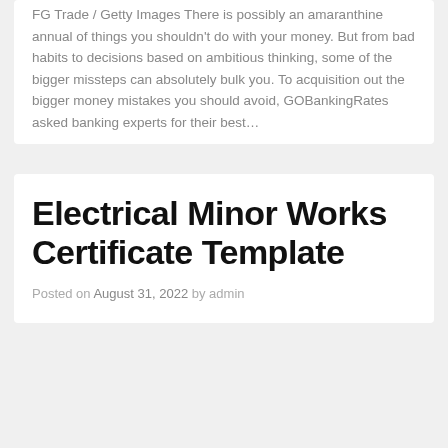FG Trade / Getty Images There is possibly an amaranthine annual of things you shouldn't do with your money. But from bad habits to decisions based on ambitious thinking, some of the bigger missteps can absolutely bulk you. To acquisition out the bigger money mistakes you should avoid, GOBankingRates asked banking experts for their best…
Electrical Minor Works Certificate Template
Posted on August 31, 2022 by admin